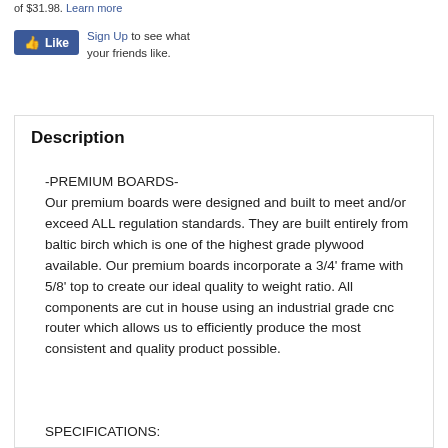of $31.98. Learn more
[Figure (other): Facebook Like button and Sign Up prompt: 'Sign Up to see what your friends like.']
Description
-PREMIUM BOARDS-
Our premium boards were designed and built to meet and/or exceed ALL regulation standards. They are built entirely from baltic birch which is one of the highest grade plywood available. Our premium boards incorporate a 3/4' frame with 5/8' top to create our ideal quality to weight ratio. All components are cut in house using an industrial grade cnc router which allows us to efficiently produce the most consistent and quality product possible.
SPECIFICATIONS: